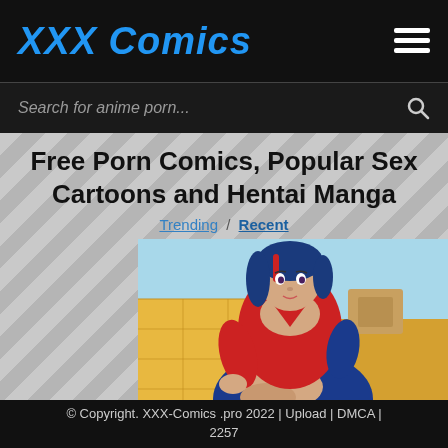XXX Comics
Search for anime porn...
Free Porn Comics, Popular Sex Cartoons and Hentai Manga
Trending / Recent
[Figure (illustration): Anime/hentai style illustration of a woman in a red outfit sitting down, with blue hair and a blue jacket, set against a yellow background]
© Copyright. XXX-Comics .pro 2022 | Upload | DMCA | 2257